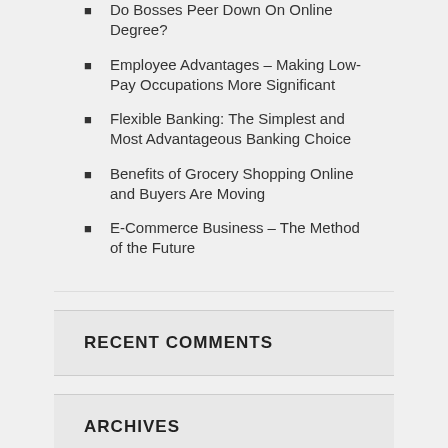Do Bosses Peer Down On Online Degree?
Employee Advantages – Making Low-Pay Occupations More Significant
Flexible Banking: The Simplest and Most Advantageous Banking Choice
Benefits of Grocery Shopping Online and Buyers Are Moving
E-Commerce Business – The Method of the Future
RECENT COMMENTS
ARCHIVES